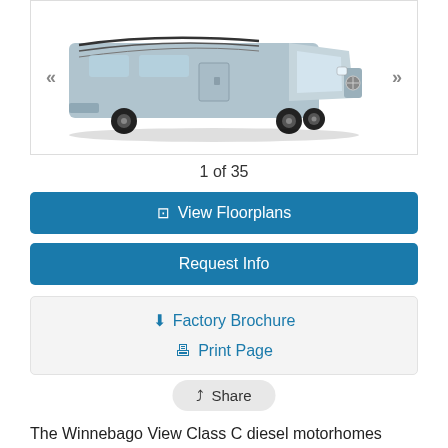[Figure (photo): Silver/grey Winnebago View Class C diesel motorhome RV shown from a front-side angle. Navigation arrows (« and ») on left and right sides of the image frame.]
1 of 35
🖥 View Floorplans
Request Info
⬇ Factory Brochure
🖨 Print Page
↗ Share
The Winnebago View Class C diesel motorhomes